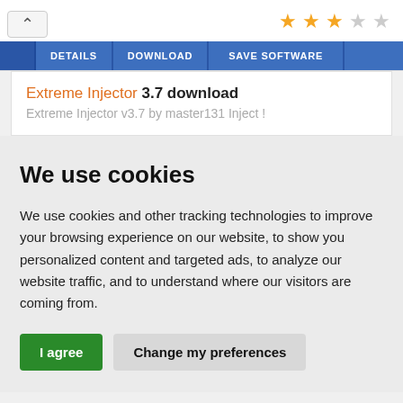[Figure (screenshot): Website header with star rating (3 out of 5 stars) and navigation tabs: DETAILS, DOWNLOAD, SAVE SOFTWARE]
Extreme Injector 3.7 download
Extreme Injector v3.7 by master131 Inject !
We use cookies
We use cookies and other tracking technologies to improve your browsing experience on our website, to show you personalized content and targeted ads, to analyze our website traffic, and to understand where our visitors are coming from.
I agree   Change my preferences